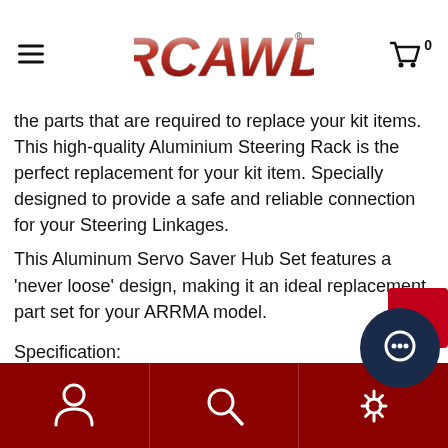[Figure (logo): RCAWD logo in red metallic style with hamburger menu icon on left and shopping cart with 0 items on right]
the parts that are required to replace your kit items. This high-quality Aluminium Steering Rack is the perfect replacement for your kit item. Specially designed to provide a safe and reliable connection for your Steering Linkages.
This Aluminum Servo Saver Hub Set features a 'never loose' design, making it an ideal replacement part set for your ARRMA model.
Specification:
Compatible with:
brand name:  ARRMA,
item number:
ARA8710         OUTCAST 6S 4WD BLX 1/8 EXtreme Bash Stunt Truck RTR (Black)
[Figure (infographic): Bottom navigation bar in dark red with user icon, search icon, and settings icon, plus a dark blue circular chat widget overlapping on bottom right]